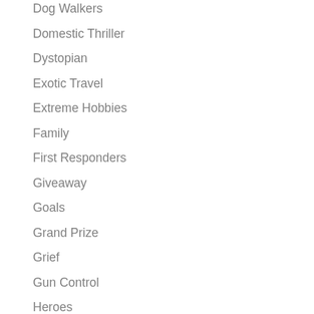Dog Walkers
Domestic Thriller
Dystopian
Exotic Travel
Extreme Hobbies
Family
First Responders
Giveaway
Goals
Grand Prize
Grief
Gun Control
Heroes
Historical romance